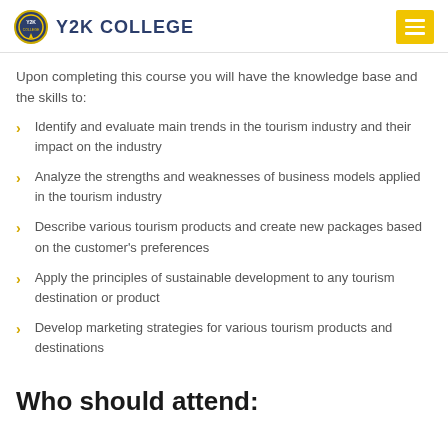Y2K COLLEGE
Upon completing this course you will have the knowledge base and the skills to:
Identify and evaluate main trends in the tourism industry and their impact on the industry
Analyze the strengths and weaknesses of business models applied in the tourism industry
Describe various tourism products and create new packages based on the customer's preferences
Apply the principles of sustainable development to any tourism destination or product
Develop marketing strategies for various tourism products and destinations
Who should attend: